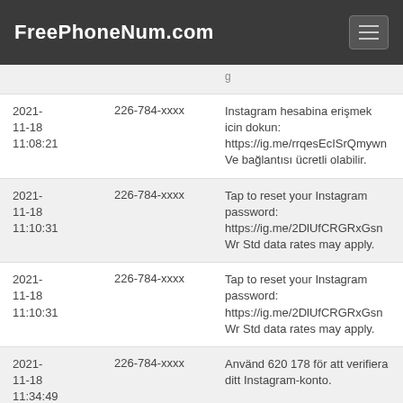FreePhoneNum.com
| Date | Phone | Message |
| --- | --- | --- |
| 2021-11-18 11:08:21 | 226-784-xxxx | Instagram hesabina erişmek icin dokun: https://ig.me/rrqesEcISrQmywn Ve bağlantısı ücretli olabilir. |
| 2021-11-18 11:10:31 | 226-784-xxxx | Tap to reset your Instagram password: https://ig.me/2DlUfCRGRxGsnWr Std data rates may apply. |
| 2021-11-18 11:10:31 | 226-784-xxxx | Tap to reset your Instagram password: https://ig.me/2DlUfCRGRxGsnWr Std data rates may apply. |
| 2021-11-18 11:34:49 | 226-784-xxxx | Använd 620 178 för att verifiera ditt Instagram-konto. |
| 2021-11-18 11:34:49 | 226-784-xxxx | Använd 620 178 för att verifiera ditt Instagram-konto. |